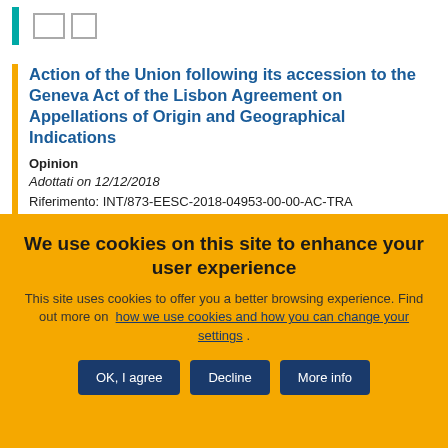Action of the Union following its accession to the Geneva Act of the Lisbon Agreement on Appellations of Origin and Geographical Indications
Opinion
Adottati on 12/12/2018
Riferimento: INT/873-EESC-2018-04953-00-00-AC-TRA
Referral: COM(2018) 365 final 2018/0189 COD
We use cookies on this site to enhance your user experience
This site uses cookies to offer you a better browsing experience. Find out more on how we use cookies and how you can change your settings .